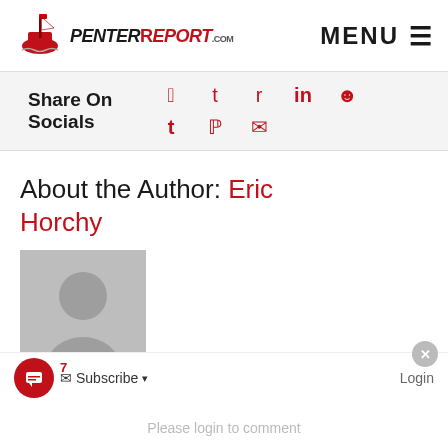PenterReport.com — MENU
Share On Socials
About the Author: Eric Horchy
[Figure (illustration): Grey placeholder avatar silhouette for author Eric Horchy]
7
Subscribe
Login
Please login to comment